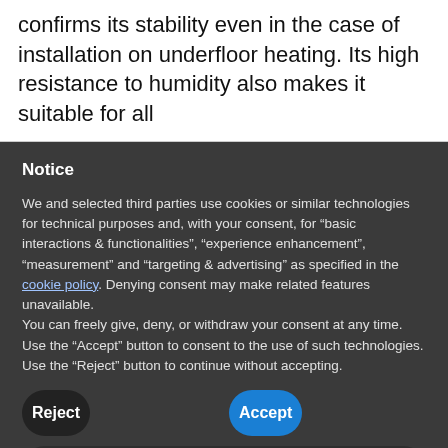confirms its stability even in the case of installation on underfloor heating. Its high resistance to humidity also makes it suitable for all
Notice
We and selected third parties use cookies or similar technologies for technical purposes and, with your consent, for “basic interactions & functionalities”, “experience enhancement”, “measurement” and “targeting & advertising” as specified in the cookie policy. Denying consent may make related features unavailable.
You can freely give, deny, or withdraw your consent at any time. Use the “Accept” button to consent to the use of such technologies. Use the “Reject” button to continue without accepting.
Reject
Accept
Learn more and customise